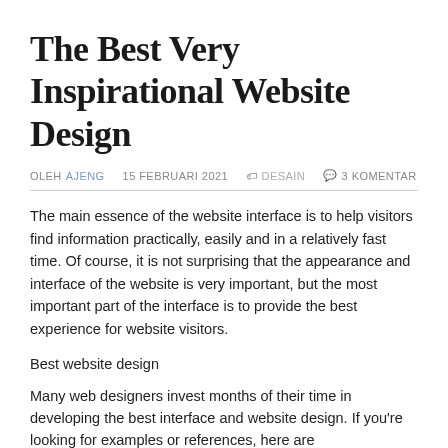The Best Very Inspirational Website Design
OLEH AJENG  15 FEBRUARI 2021  🏷 DESAIN  💬 3 KOMENTAR
The main essence of the website interface is to help visitors find information practically, easily and in a relatively fast time. Of course, it is not surprising that the appearance and interface of the website is very important, but the most important part of the interface is to provide the best experience for website visitors.
Best website design
Many web designers invest months of their time in developing the best interface and website design. If you're looking for examples or references, here are